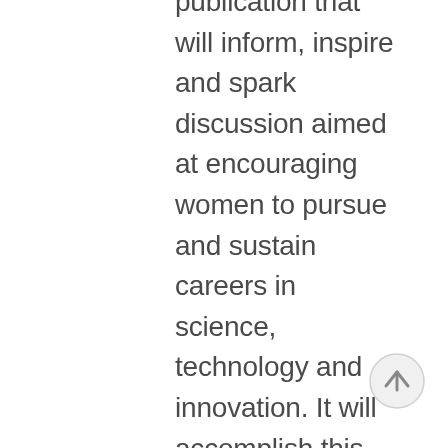publication that will inform, inspire and spark discussion aimed at encouraging women to pursue and sustain careers in science, technology and innovation. It will accomplish this by helping young women establish and build peer networks of support, encouragement and information and by serving as a compendium of formal and informal scientific and social research, development programs, and other work in this area.
[Figure (other): A circular scroll-to-top button with a light grey border and an upward-pointing arrow icon in the center]